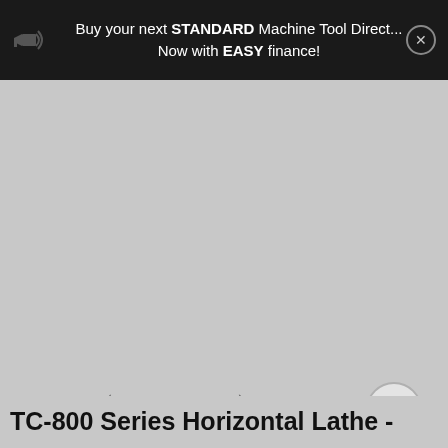Buy your next STANDARD Machine Tool Direct... Now with EASY finance!
[Figure (screenshot): Screenshot of a product page showing a TC-800 Series Horizontal Lathe with four thumbnail images and navigation arrows. The main image area is gray/empty. Four thumbnails visible: first (active/color) shows a blue horizontal lathe from STANDARD, the other three are faded/muted versions of similar lathe images. Left and right navigation arrows shown.]
TC-800 Series Horizontal Lathe -